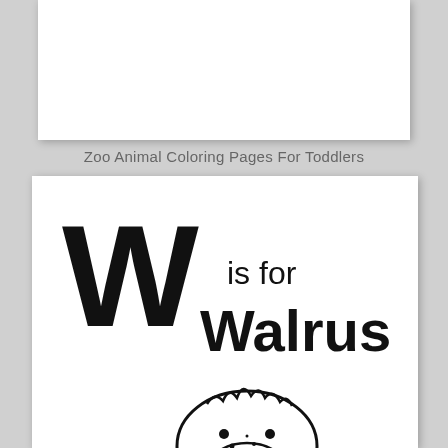[Figure (illustration): Top white card/panel (coloring page placeholder) with shadow]
Zoo Animal Coloring Pages For Toddlers
[Figure (illustration): Coloring page card showing 'W is for Walrus' with a large hand-drawn letter W on the left, 'is for' text to the right, 'Walrus' in bold playful font below, and a cartoon walrus head at the bottom]